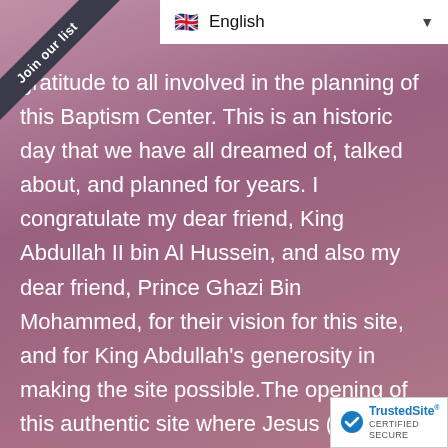Join our list
[Figure (screenshot): Language selector dropdown showing English with UK flag]
gratitude to all involved in the planning of this Baptism Center. This is an historic day that we have all dreamed of, talked about, and planned for years. I congratulate my dear friend, King Abdullah II bin Al Hussein, and also my dear friend, Prince Ghazi Bin Mohammed, for their vision for this site, and for King Abdullah's generosity in making the site possible. The opening of this authentic site where Jesus (Peace be upon him) was baptized, will be a place of Peace. It is my prayer that all who visit will have a deeper understanding of who Jesus is, what
[Figure (logo): TrustedSite Certified Secure badge]